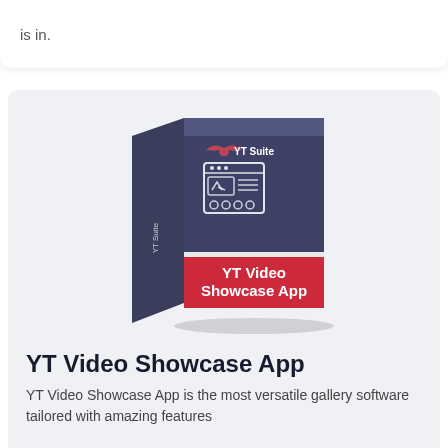is in.
[Figure (illustration): 3D product box for YT Suite YT Video Showcase App. Box has dark navy/slate blue top portion with YT Suite logo (bird/wing icon) and a browser/gallery icon graphic, and a red bottom band with 'YT Video Showcase App' in white text. The left side panel shows 'YT Suite' text rotated vertically.]
YT Video Showcase App
YT Video Showcase App is the most versatile gallery software tailored with amazing features